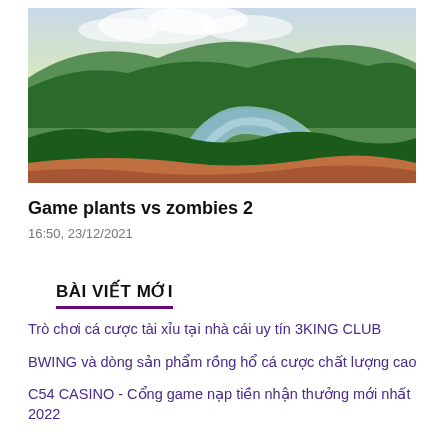[Figure (photo): Aerial view of a meandering river surrounded by lush green forest, with clouds in the background]
Game plants vs zombies 2
16:50, 23/12/2021
BÀI VIẾT MỚI
Trò chơi cá cược tài xỉu tại nhà cái uy tín 3KING CLUB
BWING và dòng sản phẩm rồng hổ cá cược chất lượng cao
C54 CASINO - Cổng game nạp tiền nhận thưởng mới nhất 2022